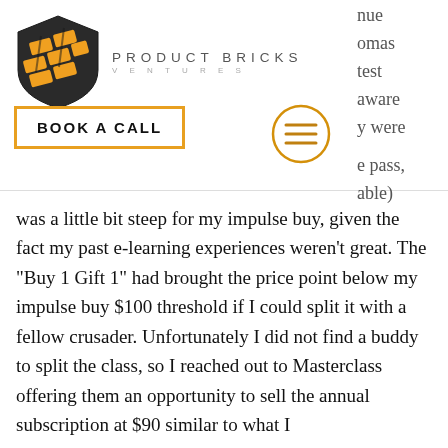[Figure (logo): Product Bricks Ventures logo — shield shape with orange and dark brick pattern, with text 'PRODUCT BRICKS VENTURES' to its right]
[Figure (other): BOOK A CALL button with orange border, and hamburger menu circle icon]
was a little bit steep for my impulse buy, given the fact my past e-learning experiences weren't great. The "Buy 1 Gift 1" had brought the price point below my impulse buy $100 threshold if I could split it with a fellow crusader. Unfortunately I did not find a buddy to split the class, so I reached out to Masterclass offering them an opportunity to sell the annual subscription at $90 similar to what I